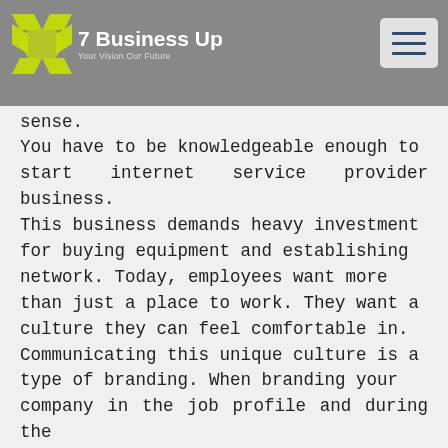7 Business Up — Your Vision. Our Future.
assumptions and basic characteristics. The demand growing thus starting internet business makes sense. You have to be knowledgeable enough to start internet service provider business. This business demands heavy investment for buying equipment and establishing network. Today, employees want more than just a place to work. They want a culture they can feel comfortable in. Communicating this unique culture is a type of branding. When branding your company in the job profile and during the hiring process, talk about the reputation of the business and how its mission is a strong part of the daily routine. Talk about the way your company is different than the competition. This is what will make your applicants excited to learn